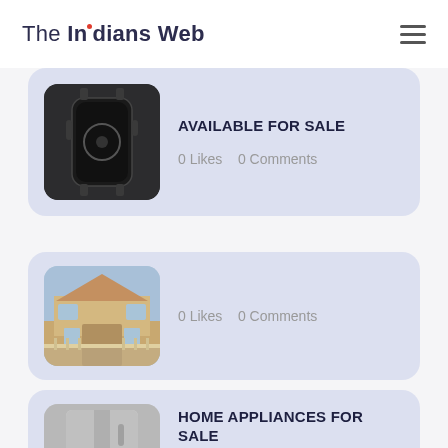The Indians Web
[Figure (screenshot): Smartwatch product listing card with image, title AVAILABLE FOR SALE, 0 Likes, 0 Comments]
AVAILABLE FOR SALE
0 Likes    0 Comments
[Figure (screenshot): House/property listing card with image, 0 Likes, 0 Comments]
0 Likes    0 Comments
[Figure (screenshot): Home appliances (refrigerator) listing card with title HOME APPLIANCES FOR SALE, 0 Likes, 0 Comments]
HOME APPLIANCES FOR SALE
0 Likes    0 Comments